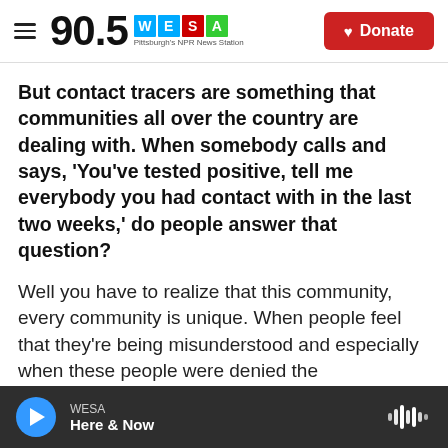90.5 WESA — Pittsburgh's NPR News Station | Donate
But contact tracers are something that communities all over the country are dealing with. When somebody calls and says, 'You've tested positive, tell me everybody you had contact with in the last two weeks,' do people answer that question?
Well you have to realize that this community, every community is unique. When people feel that they're being misunderstood and especially when these people were denied the collaboration that is needed by the Department of Health with proper
WESA — Here & Now